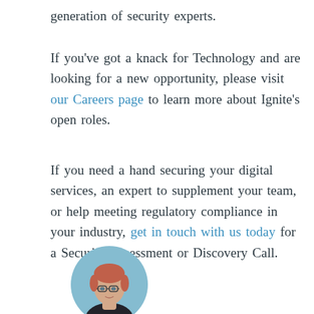generation of security experts.
If you've got a knack for Technology and are looking for a new opportunity, please visit our Careers page to learn more about Ignite's open roles.
If you need a hand securing your digital services, an expert to supplement your team, or help meeting regulatory compliance in your industry, get in touch with us today for a Security Assessment or Discovery Call.
[Figure (photo): Circular portrait photo of a woman with short reddish hair and glasses, wearing a dark top, against a light blue-grey background.]